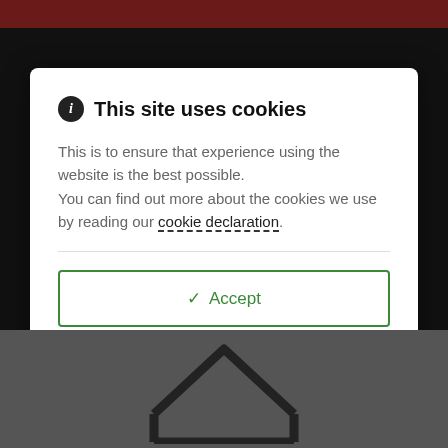This site uses cookies
This is to ensure that experience using the website is the best possible.
You can find out more about the cookies we use by reading our cookie declaration.
✓ Accept
✗ Decline